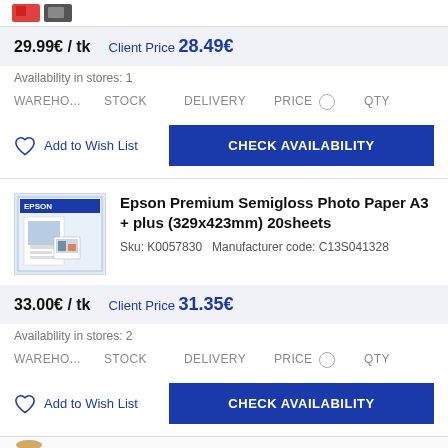[Figure (screenshot): Top strip with product image thumbnails (partially visible)]
29.99€ / tk   Client Price 28.49€
Availability in stores: 1
WAREHO...   STOCK   DELIVERY   PRICE   QTY
Add to Wish List
CHECK AVAILABILITY
[Figure (photo): Epson Premium Semigloss Photo Paper A3+ product image]
Epson Premium Semigloss Photo Paper A3 + plus (329x423mm) 20sheets
Sku: K0057830   Manufacturer code: C13S041328
33.00€ / tk   Client Price 31.35€
Availability in stores: 2
WAREHO...   STOCK   DELIVERY   PRICE   QTY
Add to Wish List
CHECK AVAILABILITY
[Figure (photo): Bottom product image thumbnail (partially visible)]